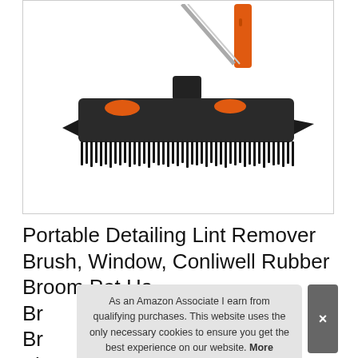[Figure (photo): A rubber broom / lint remover brush with a black rubber bristle head, orange and metal handle, shown at an angle against a white background inside a bordered box.]
Portable Detailing Lint Remover Brush, Window, Conliwell Rubber Broom Pet Ha... Br... Br... Floor
As an Amazon Associate I earn from qualifying purchases. This website uses the only necessary cookies to ensure you get the best experience on our website. More information